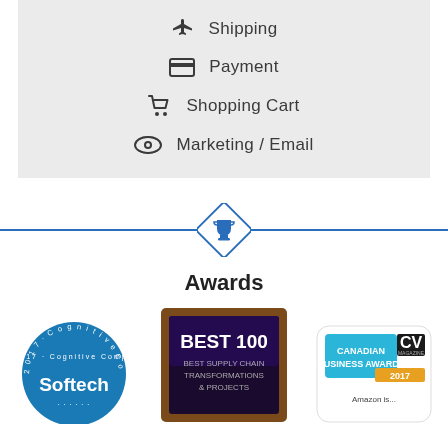Shipping
Payment
Shopping Cart
Marketing / Email
Awards
[Figure (photo): Three award images: Softech 2017 Cognitive Computing badge, Best 100 Best Supply Chain Transformations & Projects plaque, and Canadian Business Awards 2017 CV Magazine badge]